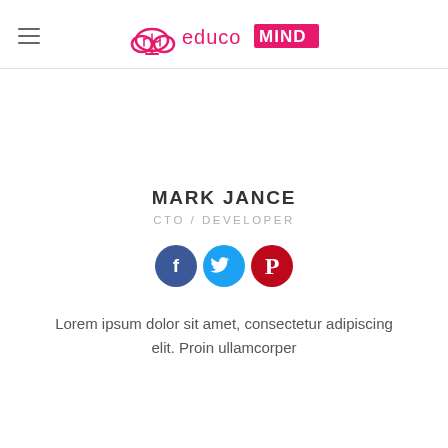educoMIND
MARK JANCE
CTO / DEVELOPER
[Figure (illustration): Three social media icons in circles: Facebook (dark blue), Twitter (light blue), Pinterest (red)]
Lorem ipsum dolor sit amet, consectetur adipiscing elit. Proin ullamcorper